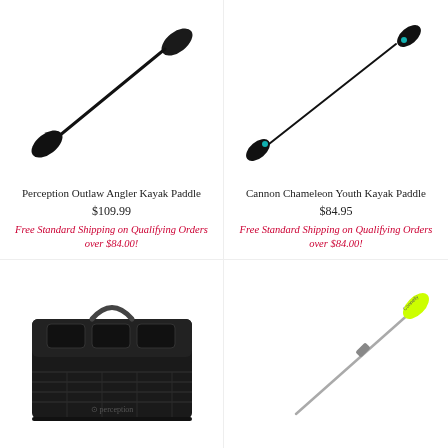[Figure (photo): Perception Outlaw Angler Kayak Paddle - black double-blade kayak paddle shown diagonally]
Perception Outlaw Angler Kayak Paddle
$109.99
Free Standard Shipping on Qualifying Orders over $84.00!
[Figure (photo): Cannon Chameleon Youth Kayak Paddle - black double-blade kayak paddle with teal accents shown diagonally]
Cannon Chameleon Youth Kayak Paddle
$84.95
Free Standard Shipping on Qualifying Orders over $84.00!
[Figure (photo): Perception kayak storage/tackle box - black rectangular container with handle and Perception logo]
[Figure (photo): Yellow and silver single-blade paddle or boat hook shown diagonally]